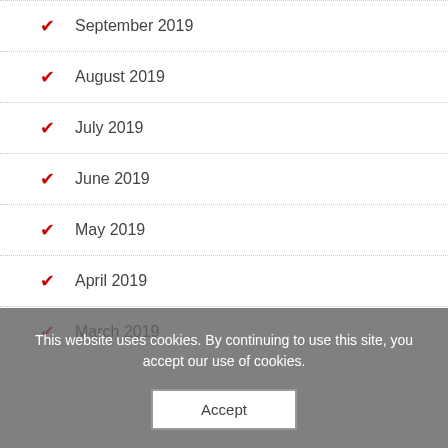September 2019
August 2019
July 2019
June 2019
May 2019
April 2019
March 2019
This website uses cookies. By continuing to use this site, you accept our use of cookies.
Accept